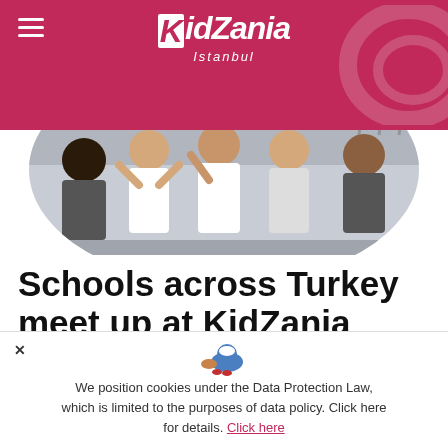KidZania Istanbul
[Figure (photo): Children and people at KidZania Istanbul activity, viewed inside a circular cropped photo with a pink/maroon header bar overlay]
Schools across Turkey meet up at KidZania Istanbul.
Education is at the head of everything we do, and...
We position cookies under the Data Protection Law, which is limited to the purposes of data policy. Click here for details. Click here